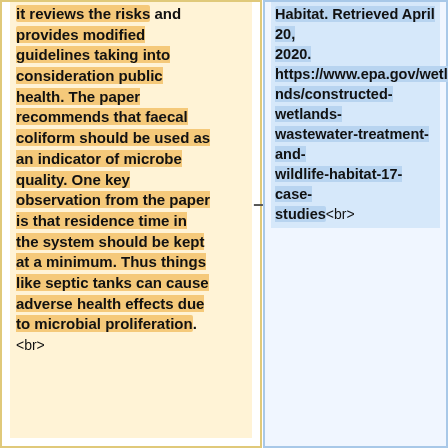it reviews the risks and provides modified guidelines taking into consideration public health. The paper recommends that faecal coliform should be used as an indicator of microbe quality. One key observation from the paper is that residence time in the system should be kept at a minimum. Thus things like septic tanks can cause adverse health effects due to microbial proliferation. <br>
Habitat. Retrieved April 20, 2020. https://www.epa.gov/wetlands/constructed-wetlands-wastewater-treatment-and-wildlife-habitat-17-case-studies<br>
::This article discusses various constructed wetlands. Although it is a